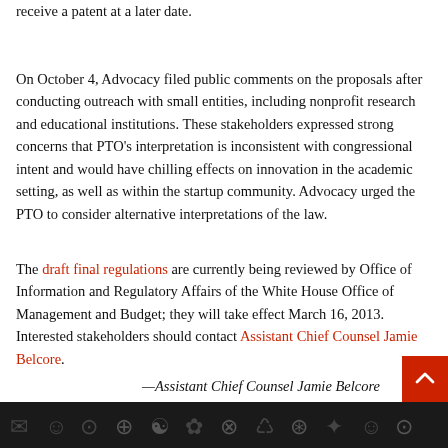receive a patent at a later date.
On October 4, Advocacy filed public comments on the proposals after conducting outreach with small entities, including nonprofit research and educational institutions. These stakeholders expressed strong concerns that PTO's interpretation is inconsistent with congressional intent and would have chilling effects on innovation in the academic setting, as well as within the startup community. Advocacy urged the PTO to consider alternative interpretations of the law.
The draft final regulations are currently being reviewed by Office of Information and Regulatory Affairs of the White House Office of Management and Budget; they will take effect March 16, 2013. Interested stakeholders should contact Assistant Chief Counsel Jamie Belcore.
—Assistant Chief Counsel Jamie Belcore